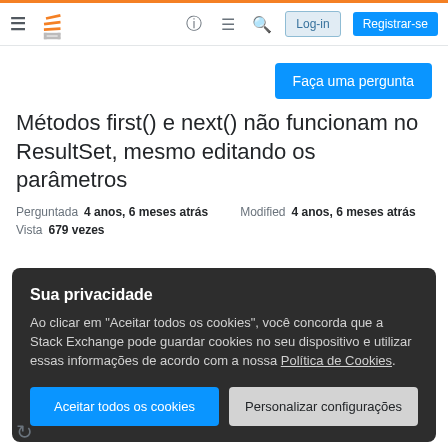Stack Overflow navigation — hamburger menu, logo, icons, Log-in, Registrar-se
Faça uma pergunta
Métodos first() e next() não funcionam no ResultSet, mesmo editando os parâmetros
Perguntada 4 anos, 6 meses atrás   Modified 4 anos, 6 meses atrás
Vista 679 vezes
Sua privacidade
Ao clicar em "Aceitar todos os cookies", você concorda que a Stack Exchange pode guardar cookies no seu dispositivo e utilizar essas informações de acordo com a nossa Política de Cookies.
Aceitar todos os cookies
Personalizar configurações